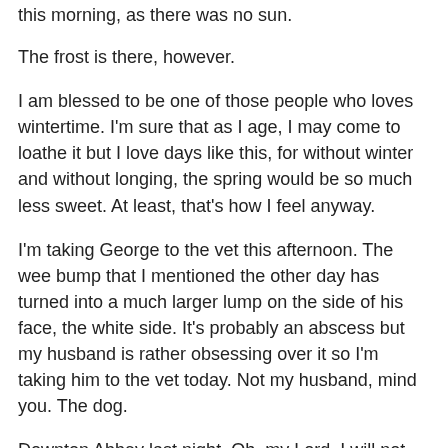this morning, as there was no sun.
The frost is there, however.
I am blessed to be one of those people who loves wintertime. I'm sure that as I age, I may come to loathe it but I love days like this, for without winter and without longing, the spring would be so much less sweet. At least, that's how I feel anyway.
I'm taking George to the vet this afternoon. The wee bump that I mentioned the other day has turned into a much larger lump on the side of his face, the white side. It's probably an abscess but my husband is rather obsessing over it so I'm taking him to the vet today. Not my husband, mind you. The dog.
Downton Abbey last night. Oh, my Lord. I will not say anything more because I won't spoil it for anyone. But I sat here and bawled.
I went to my niece's baby shower over the weekend and took lots of photos. At first, I was so dismayed with them. The